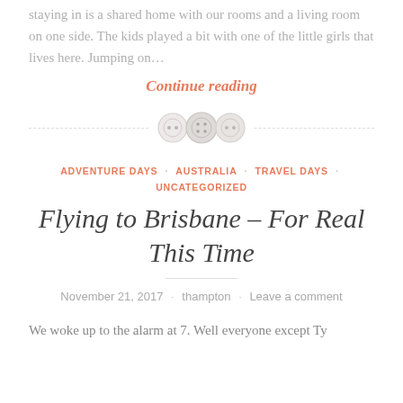staying in is a shared home with our rooms and a living room on one side. The kids played a bit with one of the little girls that lives here. Jumping on…
Continue reading
[Figure (illustration): Three decorative button icons used as a section divider with dashed line]
ADVENTURE DAYS · AUSTRALIA · TRAVEL DAYS · UNCATEGORIZED
Flying to Brisbane – For Real This Time
November 21, 2017 · thampton · Leave a comment
We woke up to the alarm at 7. Well everyone except Ty